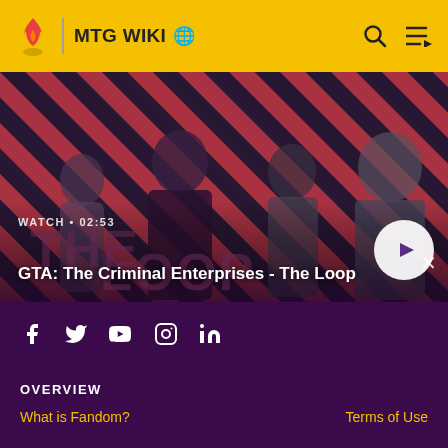MTG WIKI
[Figure (screenshot): Video thumbnail for GTA: The Criminal Enterprises - The Loop showing four game characters on a red diagonal striped background. Watch timer shows 02:53.]
WATCH • 02:53
GTA: The Criminal Enterprises - The Loop
[Figure (illustration): Social media icons: Facebook, Twitter, YouTube, Instagram, LinkedIn]
OVERVIEW
What is Fandom?
Terms of Use